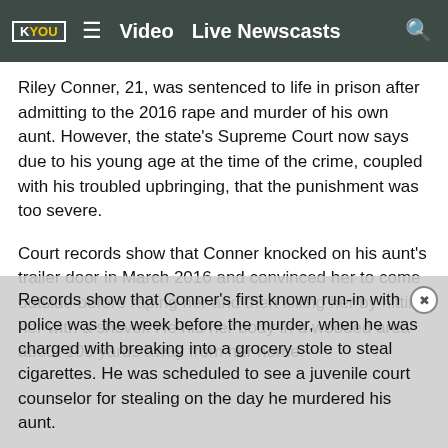KYOU  ≡  Video   Live Newscasts  🔍
Riley Conner, 21, was sentenced to life in prison after admitting to the 2016 rape and murder of his own aunt. However, the state's Supreme Court now says due to his young age at the time of the crime, coupled with his troubled upbringing, that the punishment was too severe.
Court records show that Conner knocked on his aunt's trailer door in March 2016 and convinced her to come outside before raping her and then killing her by hitting her with a shovel. He hid her body in a wooded area about 100 yards away from her home.
Records show that Conner's first known run-in with police was the week before the murder, when he was charged with breaking into a grocery stole to steal cigarettes. He was scheduled to see a juvenile court counselor for stealing on the day he murdered his aunt.